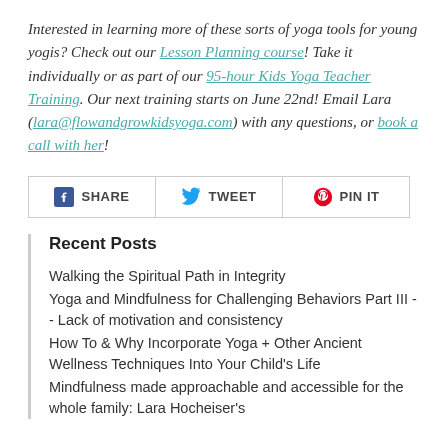Interested in learning more of these sorts of yoga tools for young yogis? Check out our Lesson Planning course! Take it individually or as part of our 95-hour Kids Yoga Teacher Training. Our next training starts on June 22nd! Email Lara (lara@flowandgrowkidsyoga.com) with any questions, or book a call with her!
[Figure (infographic): Social share buttons: Facebook SHARE, Twitter TWEET, Pinterest PIN IT]
Recent Posts
Walking the Spiritual Path in Integrity
Yoga and Mindfulness for Challenging Behaviors Part III -- Lack of motivation and consistency
How To & Why Incorporate Yoga + Other Ancient Wellness Techniques Into Your Child's Life
Mindfulness made approachable and accessible for the whole family: Lara Hocheiser's